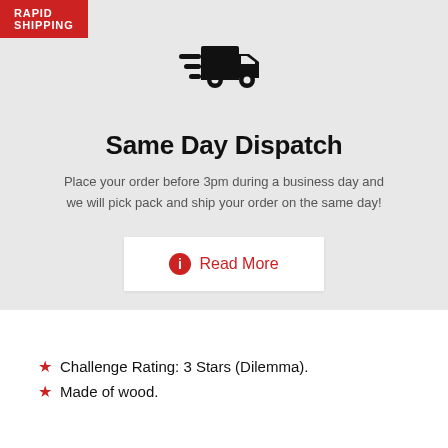[Figure (illustration): Rapid Shipping red banner label in top-left corner of gray card]
[Figure (illustration): Black delivery truck icon with speed lines, centered in gray card area]
Same Day Dispatch
Place your order before 3pm during a business day and we will pick pack and ship your order on the same day!
[Figure (other): White button with red info circle icon and Read More text]
Challenge Rating: 3 Stars (Dilemma).
Made of wood.